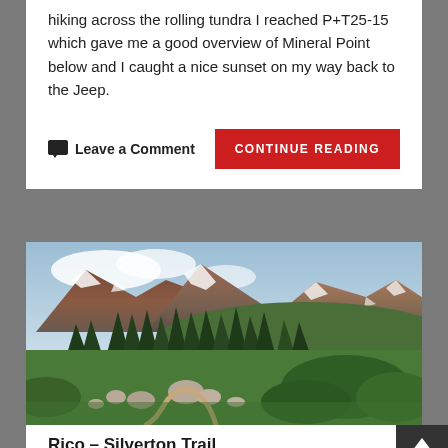hiking across the rolling tundra I reached P+T25-15 which gave me a good overview of Mineral Point below and I caught a nice sunset on my way back to the Jeep.
Leave a Comment
CONTINUE READING
[Figure (photo): Panoramic mountain landscape with green alpine meadow, scattered boulders, a hiking trail, conifer trees, and rocky snow-patched mountains in the background under a partly cloudy sky.]
Rico – Silverton Trail